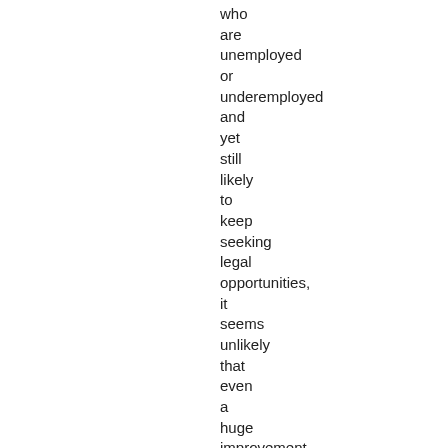who are unemployed or underemployed and yet still likely to keep seeking legal opportunities, it seems unlikely that even a huge improvement in the economy will create